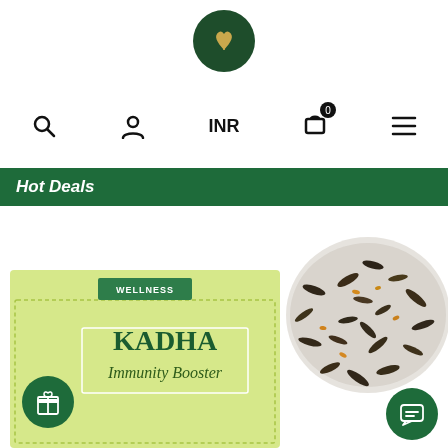[Figure (logo): Circular dark green logo with a golden leaf/wing motif in the center]
[Figure (infographic): Navigation bar with search icon, user icon, INR currency label, shopping bag icon with 0 badge, and hamburger menu icon]
Hot Deals
[Figure (photo): Product box for KADHA Immunity Booster tea with wellness label, shown with loose tea leaves on the right and two green circular buttons (gift and chat)]